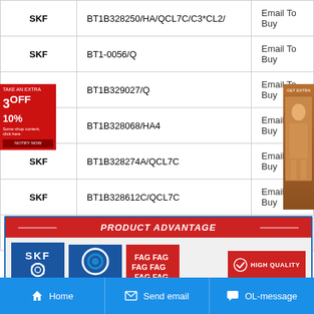| Brand | Part Number | Action |
| --- | --- | --- |
| SKF | BT1B328250/HA/QCL7C/C3*CL2/ | Email To Buy |
| SKF | BT1-0056/Q | Email To Buy |
| SKF | BT1B329027/Q | Email To Buy |
| SKF | BT1B328068/HA4 | Email To Buy |
| SKF | BT1B328274A/QCL7C | Email To Buy |
| SKF | BT1B328612C/QCL7C | Email To Buy |
| SKF | BT1B328214/HA5 | Email To Buy |
[Figure (infographic): Product Advantage banner with SKF, NSK, FAG bearing brand logos and High Quality badge]
Home   Send email   OL-message